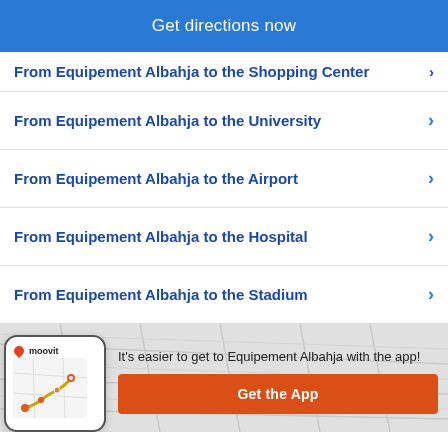Get directions now
From Equipement Albahja to the Shopping Center
From Equipement Albahja to the University
From Equipement Albahja to the Airport
From Equipement Albahja to the Hospital
From Equipement Albahja to the Stadium
[Figure (screenshot): Moovit app phone mockup showing a map route with a golden path between stops]
It's easier to get to Equipement Albahja with the app!
Get the App